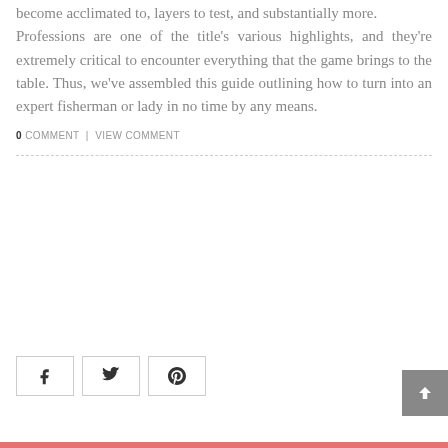become acclimated to, layers to test, and substantially more. Professions are one of the title's various highlights, and they're extremely critical to encounter everything that the game brings to the table. Thus, we've assembled this guide outlining how to turn into an expert fisherman or lady in no time by any means.
0 COMMENT | VIEW COMMENT
[Figure (other): Social share buttons: Facebook, Twitter, Pinterest, and a back-to-top button]